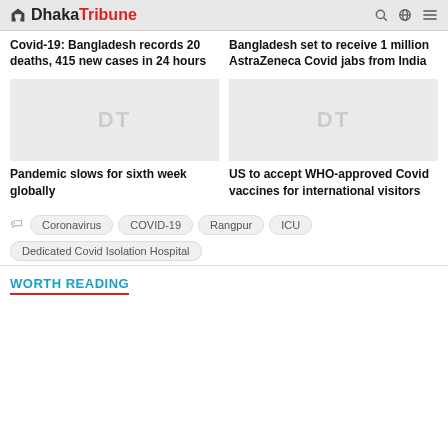Dhaka Tribune
Covid-19: Bangladesh records 20 deaths, 415 new cases in 24 hours
Bangladesh set to receive 1 million AstraZeneca Covid jabs from India
[Figure (photo): Placeholder image with DT watermark]
[Figure (photo): Placeholder image with DT watermark]
Pandemic slows for sixth week globally
US to accept WHO-approved Covid vaccines for international visitors
Coronavirus  COVID-19  Rangpur  ICU  Dedicated Covid Isolation Hospital
WORTH READING